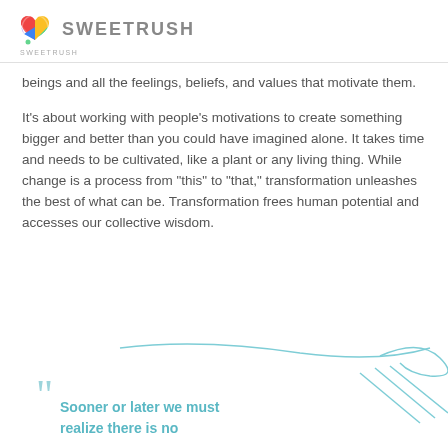SWEETRUSH
beings and all the feelings, beliefs, and values that motivate them.
It's about working with people's motivations to create something bigger and better than you could have imagined alone. It takes time and needs to be cultivated, like a plant or any living thing. While change is a process from “this” to “that,” transformation unleashes the best of what can be. Transformation frees human potential and accesses our collective wisdom.
Sooner or later we must realize there is no